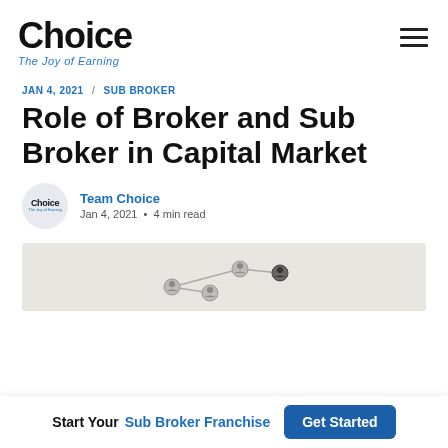Choice – The Joy of Earning
JAN 4, 2021 / SUB BROKER
Role of Broker and Sub Broker in Capital Market
Team Choice
Jan 4, 2021 • 4 min read
[Figure (illustration): Light grey article thumbnail with a network/connection diagram showing small circular person icons connected by lines.]
Start Your Sub Broker Franchise  Get Started